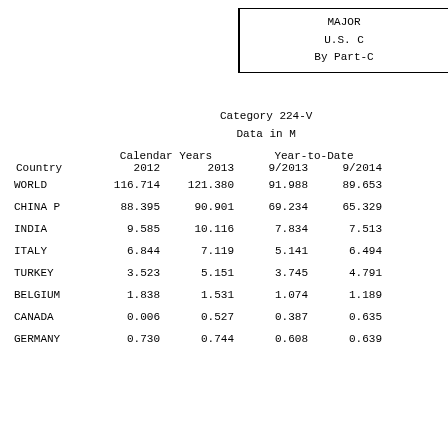MAJOR
U.S. C
By Part-C
Category 224-V
Data in M
| Country | 2012 | 2013 | 9/2013 | 9/2014 |
| --- | --- | --- | --- | --- |
| WORLD | 116.714 | 121.380 | 91.988 | 89.653 |
| CHINA P | 88.395 | 90.901 | 69.234 | 65.329 |
| INDIA | 9.585 | 10.116 | 7.834 | 7.513 |
| ITALY | 6.844 | 7.119 | 5.141 | 6.494 |
| TURKEY | 3.523 | 5.151 | 3.745 | 4.791 |
| BELGIUM | 1.838 | 1.531 | 1.074 | 1.189 |
| CANADA | 0.006 | 0.527 | 0.387 | 0.635 |
| GERMANY | 0.730 | 0.744 | 0.608 | 0.639 |